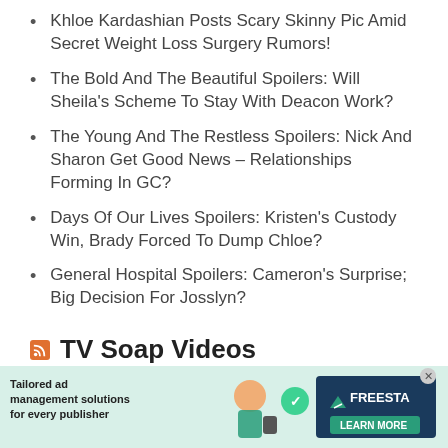Khloe Kardashian Posts Scary Skinny Pic Amid Secret Weight Loss Surgery Rumors!
The Bold And The Beautiful Spoilers: Will Sheila's Scheme To Stay With Deacon Work?
The Young And The Restless Spoilers: Nick And Sharon Get Good News – Relationships Forming In GC?
Days Of Our Lives Spoilers: Kristen's Custody Win, Brady Forced To Dump Chloe?
General Hospital Spoilers: Cameron's Surprise; Big Decision For Josslyn?
TV Soap Videos
Has Little People Big World Matt Roloff and Tori Settled Their Differences?
[Figure (infographic): Advertisement banner: Tailored ad management solutions for every publisher, with FREESTA logo and LEARN MORE button]
Why...